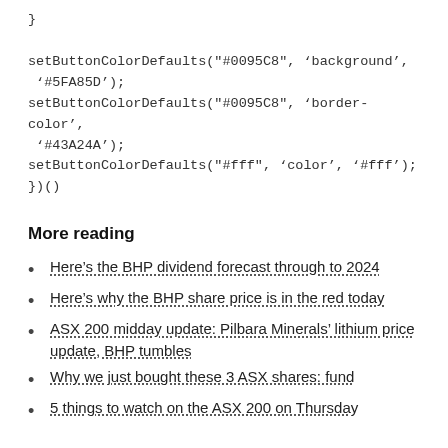}

setButtonColorDefaults("#0095C8", 'background', '#5FA85D');
setButtonColorDefaults("#0095C8", 'border-color', '#43A24A');
setButtonColorDefaults("#fff", 'color', '#fff');
})()
More reading
Here's the BHP dividend forecast through to 2024
Here's why the BHP share price is in the red today
ASX 200 midday update: Pilbara Minerals' lithium price update, BHP tumbles
Why we just bought these 3 ASX shares: fund
5 things to watch on the ASX 200 on Thursday